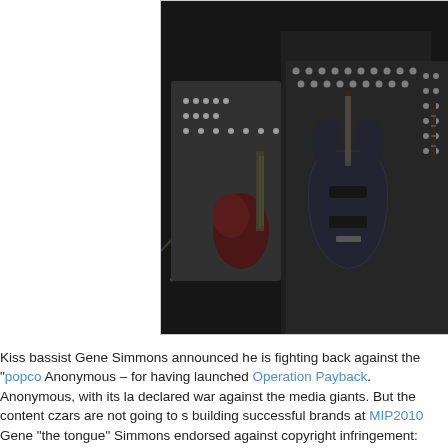[Figure (photo): Concert photo showing Kiss band members on stage with guitars and studded outfits, stage lights visible in background]
Kiss bassist Gene Simmons announced he is fighting back against the "popcorn" Anonymous – for having launched Operation Payback. Anonymous, with its last declared war against the media giants. But the content czars are not going to s building successful brands at MIP2010 Gene "the tongue" Simmons endorsed against copyright infringement: "Make sure your brand is protected…Make sur Be litigious. Sue everybody. Take their homes, their cars. Don't let anybody cr (shocker, I know), Gene Simmons' Web sites (GeneSimmons.com and Simmo under a DDoS attack the very next day.
You gotta admit: It's a heck of an enterprise to take on the media – but Anonym
Last month saw Web sites falling one after another as the hactivist aesthetic w justification was simple: entertainment companies are cracking the lawsuit whi intellectual property (which actually belongs to the artist), but rather, to exploit